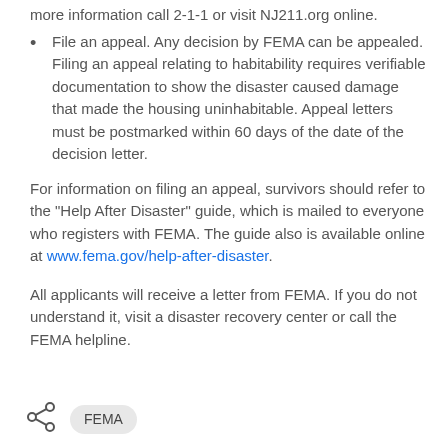more information call 2-1-1 or visit NJ211.org online.
File an appeal. Any decision by FEMA can be appealed. Filing an appeal relating to habitability requires verifiable documentation to show the disaster caused damage that made the housing uninhabitable. Appeal letters must be postmarked within 60 days of the date of the decision letter.
For information on filing an appeal, survivors should refer to the "Help After Disaster" guide, which is mailed to everyone who registers with FEMA. The guide also is available online at www.fema.gov/help-after-disaster.
All applicants will receive a letter from FEMA. If you do not understand it, visit a disaster recovery center or call the FEMA helpline.
FEMA